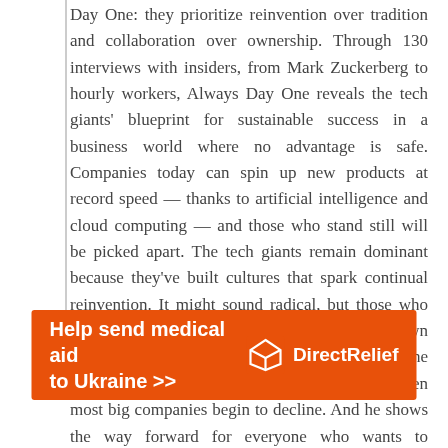Day One: they prioritize reinvention over tradition and collaboration over ownership. Through 130 interviews with insiders, from Mark Zuckerberg to hourly workers, Always Day One reveals the tech giants' blueprint for sustainable success in a business world where no advantage is safe. Companies today can spin up new products at record speed — thanks to artificial intelligence and cloud computing — and those who stand still will be picked apart. The tech giants remain dominant because they've built cultures that spark continual reinvention. It might sound radical, but those who don't act like it's always day one do so at their own peril. Kantrowitz uncovers the engine propelling the tech giants' continued dominance at a stage when most big companies begin to decline. And he shows the way forward for everyone who wants to compete with–and
[Figure (infographic): Orange advertisement banner for Direct Relief charity. Text reads 'Help send medical aid to Ukraine >>' with Direct Relief logo on the right side.]